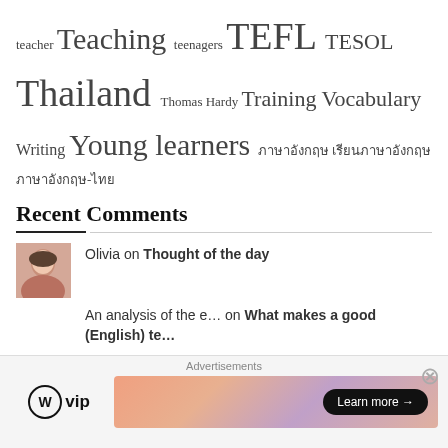teacher Teaching teenagers TEFL TESOL Thailand Thomas Hardy Training Vocabulary Writing Young learners ภาษาอังกฤษ เรียนภาษาอังกฤษ ภาษาอังกฤษ-ไทย
Recent Comments
Olivia on Thought of the day
An analysis of the e… on What makes a good (English) te…
Inkposts on Discuss the ways in which attr…
Neil on Protest Songs: A look at 'Stra…
Neil on Discuss the ways in which attr…
Advertisements
[Figure (logo): WordPress VIP logo and advertisement banner with Learn more button]